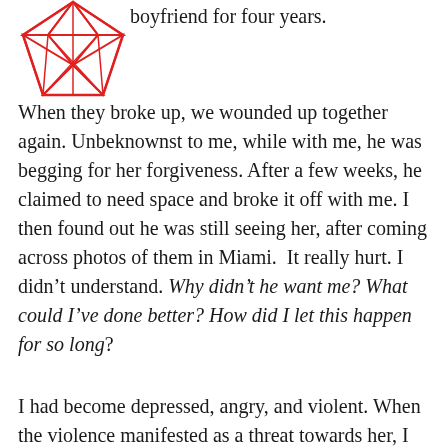[Figure (logo): Red geometric diamond/crystal logo made of triangular facets with internal grid lines]
boyfriend for four years.
When they broke up, we wounded up together again. Unbeknownst to me, while with me, he was begging for her forgiveness. After a few weeks, he claimed to need space and broke it off with me. I then found out he was still seeing her, after coming across photos of them in Miami.  It really hurt. I didn’t understand. Why didn’t he want me? What could I’ve done better? How did I let this happen for so long?
I had become depressed, angry, and violent. When the violence manifested as a threat towards her, I